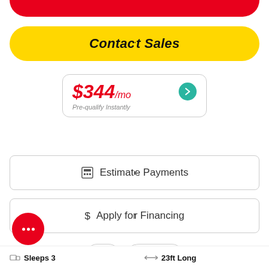[Figure (other): Partial red rounded button at top of page (cropped from above)]
Contact Sales
$344/mo
Pre-qualify Instantly
Estimate Payments
Apply for Financing
Share
Sleeps 3
23ft Long